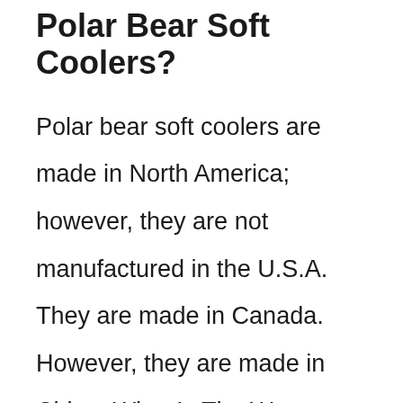Polar Bear Soft Coolers?
Polar bear soft coolers are made in North America; however, they are not manufactured in the U.S.A. They are made in Canada. However, they are made in China. What Is The Warranty Of A Polar Bear Hard Cooler? Answer: Polar bear hard coolers are made in Canada. They are not manufactured in the USA. They are made in China